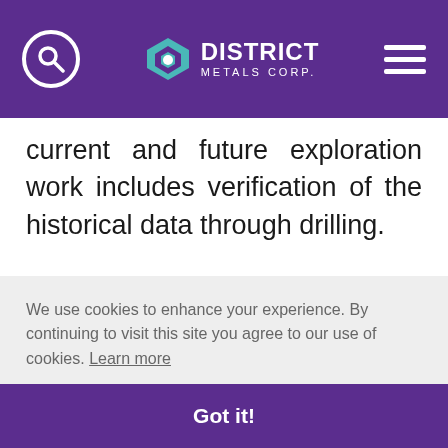District Metals Corp.
current and future exploration work includes verification of the historical data through drilling.
Mr. Ainsworth has not verified any of the information regarding any of the properties or projects referred to herein other than the any not n on
We use cookies to enhance your experience. By continuing to visit this site you agree to our use of cookies. Learn more
Got it!